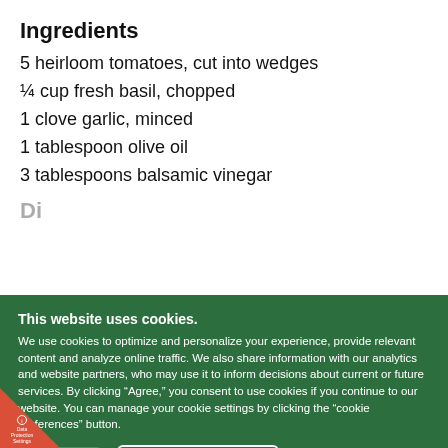Ingredients
5 heirloom tomatoes, cut into wedges
¼ cup fresh basil, chopped
1 clove garlic, minced
1 tablespoon olive oil
3 tablespoons balsamic vinegar
Di...
This website uses cookies. We use cookies to optimize and personalize your experience, provide relevant content and analyze online traffic. We also share information with our analytics and website partners, who may use it to inform decisions about current or future services. By clicking "Agree," you consent to use cookies if you continue to our website. You can manage your cookie settings by clicking the "cookie preferences" button.
I Agree
Cookie Preferences